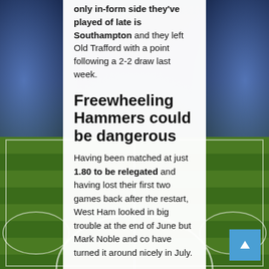only in-form side they've played of late is Southampton and they left Old Trafford with a point following a 2-2 draw last week.
Freewheeling Hammers could be dangerous
Having been matched at just 1.80 to be relegated and having lost their first two games back after the restart, West Ham looked in big trouble at the end of June but Mark Noble and co have turned it around nicely in July.
A 3-2 home win against Chelsea was the catalyst for their recovery
[Figure (photo): Football stadium background with floodlights and green pitch with white field markings]